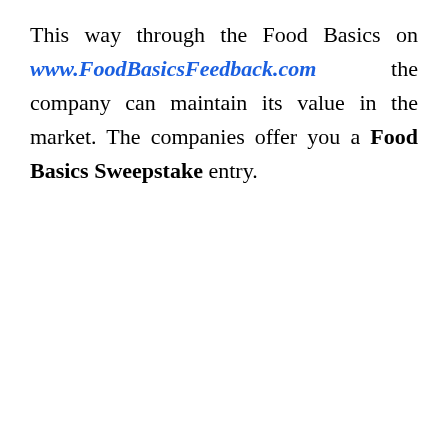This way through the Food Basics on www.FoodBasicsFeedback.com the company can maintain its value in the market. The companies offer you a Food Basics Sweepstake entry.